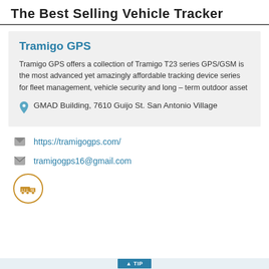The Best Selling Vehicle Tracker
Tramigo GPS
Tramigo GPS offers a collection of Tramigo T23 series GPS/GSM is the most advanced yet amazingly affordable tracking device series for fleet management, vehicle security and long – term outdoor asset
GMAD Building, 7610 Guijo St. San Antonio Village
https://tramigogps.com/
tramigogps16@gmail.com
[Figure (logo): Circular icon with a delivery truck silhouette in brown/orange color, outlined circle border]